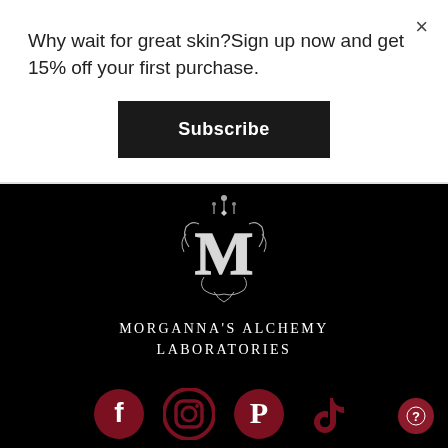Why wait for great skin?Sign up now and get 15% off your first purchase.
[Figure (other): Subscribe button - dark rectangular button with white bold text 'Subscribe']
[Figure (logo): Morganna's Alchemy Laboratories logo - ornate white M emblem on black background with brand name text below]
[Figure (infographic): Social media icons row: Facebook, Instagram, Pinterest, TikTok - all in dark red/crimson color on black background]